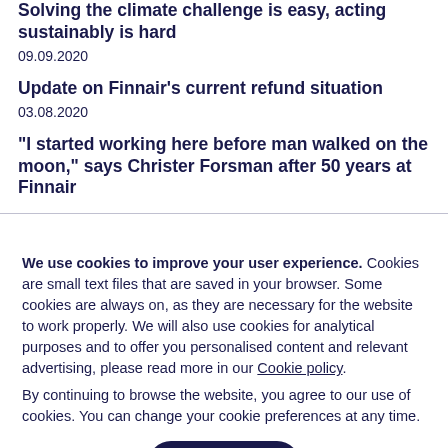Solving the climate challenge is easy, acting sustainably is hard
09.09.2020
Update on Finnair's current refund situation
03.08.2020
“I started working here before man walked on the moon,” says Christer Forsman after 50 years at Finnair
We use cookies to improve your user experience. Cookies are small text files that are saved in your browser. Some cookies are always on, as they are necessary for the website to work properly. We will also use cookies for analytical purposes and to offer you personalised content and relevant advertising, please read more in our Cookie policy.
By continuing to browse the website, you agree to our use of cookies. You can change your cookie preferences at any time.
Close
Set your cookie preferences